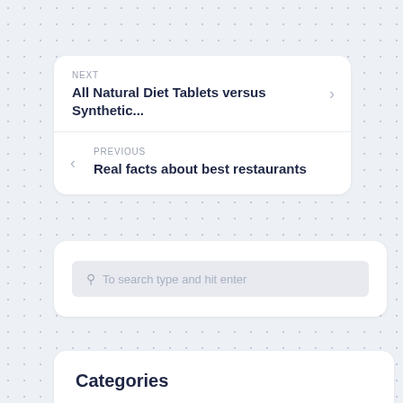NEXT
All Natural Diet Tablets versus Synthetic...
PREVIOUS
Real facts about best restaurants
To search type and hit enter
Categories
Animation
Anime